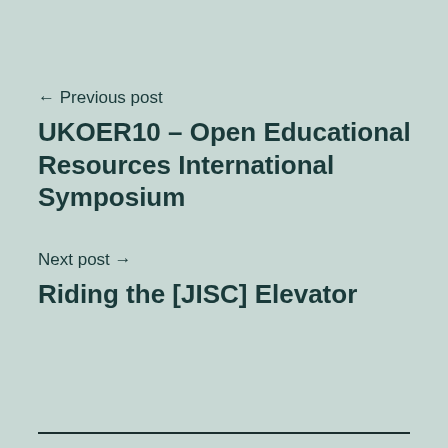← Previous post
UKOER10 – Open Educational Resources International Symposium
Next post →
Riding the [JISC] Elevator